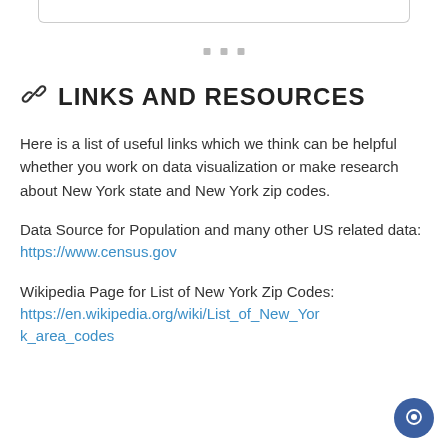🔗 LINKS AND RESOURCES
Here is a list of useful links which we think can be helpful whether you work on data visualization or make research about New York state and New York zip codes.
Data Source for Population and many other US related data:
https://www.census.gov
Wikipedia Page for List of New York Zip Codes:
https://en.wikipedia.org/wiki/List_of_New_York_area_codes